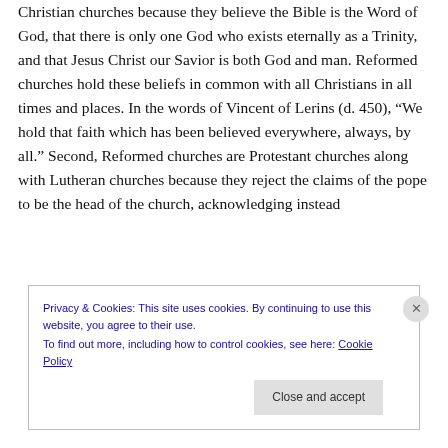Christian churches because they believe the Bible is the Word of God, that there is only one God who exists eternally as a Trinity, and that Jesus Christ our Savior is both God and man. Reformed churches hold these beliefs in common with all Christians in all times and places. In the words of Vincent of Lerins (d. 450), “We hold that faith which has been believed everywhere, always, by all.” Second, Reformed churches are Protestant churches along with Lutheran churches because they reject the claims of the pope to be the head of the church, acknowledging instead
Privacy & Cookies: This site uses cookies. By continuing to use this website, you agree to their use.
To find out more, including how to control cookies, see here: Cookie Policy